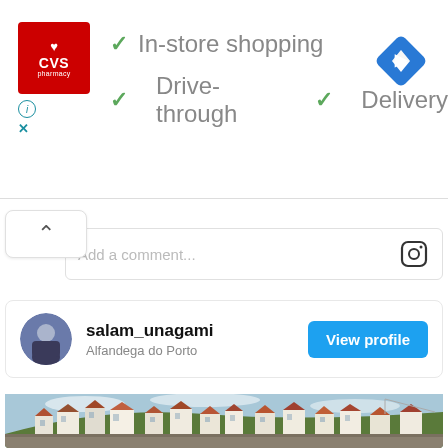[Figure (screenshot): CVS Pharmacy advertisement banner showing logo and store features: In-store shopping, Drive-through, Delivery with green checkmarks, and a blue navigation diamond icon]
✓ In-store shopping
✓ Drive-through  ✓ Delivery
[Figure (screenshot): Instagram UI: up-chevron collapse button and comment input field with placeholder 'Add a comment...' and Instagram camera icon]
Add a comment...
[Figure (screenshot): Instagram profile card for salam_unagami, located at Alfandega do Porto, with a View profile blue button]
salam_unagami
Alfandega do Porto
[Figure (photo): Photo of hillside town with densely packed white and terracotta-roofed buildings climbing a green hillside against a blue sky, appears to be Porto, Portugal]